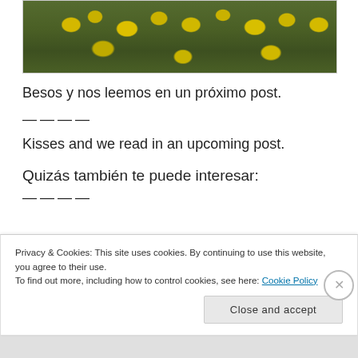[Figure (photo): Photograph of yellow wildflowers and green vegetation/shrubs in a field]
Besos y nos leemos en un próximo post.
——
Kisses and we read in an upcoming post.
Quizás también te puede interesar:
——
Privacy & Cookies: This site uses cookies. By continuing to use this website, you agree to their use.
To find out more, including how to control cookies, see here: Cookie Policy
Close and accept